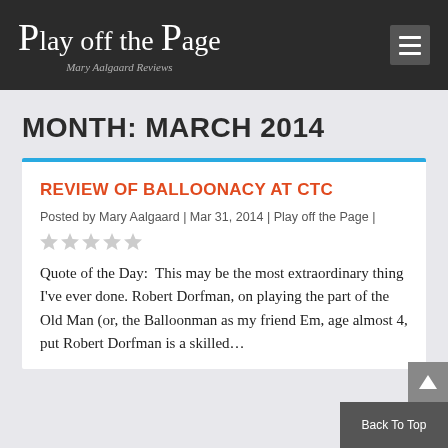Play off the Page — Mary Aalgaard Reviews
MONTH: MARCH 2014
REVIEW OF BALLOONACY AT CTC
Posted by Mary Aalgaard | Mar 31, 2014 | Play off the Page |
Quote of the Day:  This may be the most extraordinary thing I've ever done. Robert Dorfman, on playing the part of the Old Man (or, the Balloonman as my friend Em, age almost 4, put Robert Dorfman is a skilled...